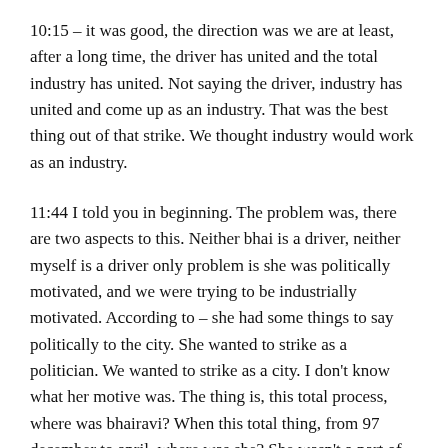10:15 – it was good, the direction was we are at least, after a long time, the driver has united and the total industry has united. Not saying the driver, industry has united and come up as an industry. That was the best thing out of that strike. We thought industry would work as an industry.
11:44 I told you in beginning. The problem was, there are two aspects to this. Neither bhai is a driver, neither myself is a driver only problem is she was politically motivated, and we were trying to be industrially motivated. According to – she had some things to say politically to the city. She wanted to strike as a politician. We wanted to strike as a city. I don't know what her motive was. The thing is, this total process, where was bhairavi? When this total thing, from 97 december to april, where was she? She wasn't a part of any